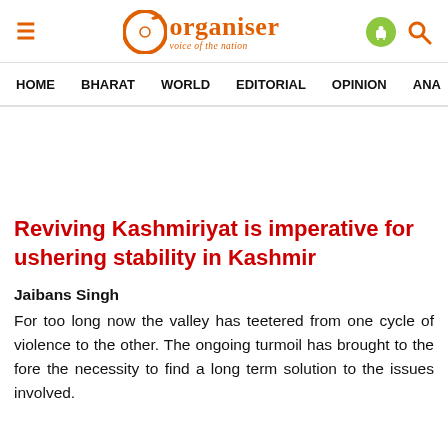Organiser — voice of the nation
HOME   BHARAT   WORLD   EDITORIAL   OPINION   ANA
Reviving Kashmiriyat is imperative for ushering stability in Kashmir
Jaibans Singh
For too long now the valley has teetered from one cycle of violence to the other. The ongoing turmoil has brought to the fore the necessity to find a long term solution to the issues involved.